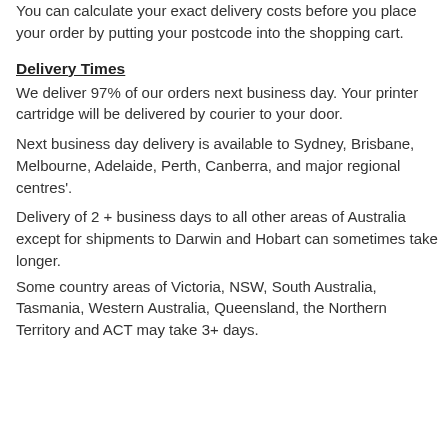You can calculate your exact delivery costs before you place your order by putting your postcode into the shopping cart.
Delivery Times
We deliver 97% of our orders next business day. Your printer cartridge will be delivered by courier to your door.
Next business day delivery is available to Sydney, Brisbane, Melbourne, Adelaide, Perth, Canberra, and major regional centres'.
Delivery of 2 + business days to all other areas of Australia except for shipments to Darwin and Hobart can sometimes take longer.
Some country areas of Victoria, NSW, South Australia, Tasmania, Western Australia, Queensland, the Northern Territory and ACT may take 3+ days.